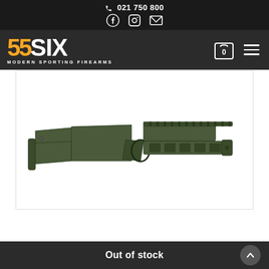📞 021 750 800
[Figure (screenshot): 55SIX Modern Sporting Firearms website header with logo, shopping cart showing 0 items, and hamburger menu on dark background]
[Figure (photo): Olive/green colored rifle stock - a modern sporting firearm chassis/stock on white background]
Out of stock